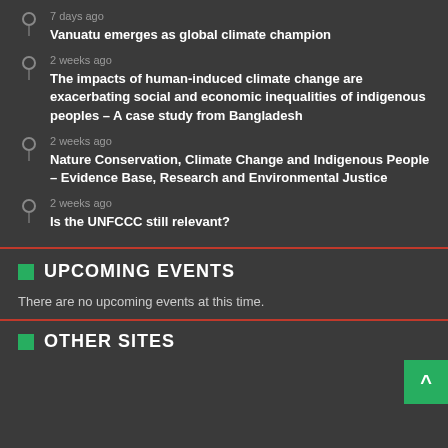7 days ago
Vanuatu emerges as global climate champion
2 weeks ago
The impacts of human-induced climate change are exacerbating social and economic inequalities of indigenous peoples – A case study from Bangladesh
2 weeks ago
Nature Conservation, Climate Change and Indigenous People – Evidence Base, Research and Environmental Justice
2 weeks ago
Is the UNFCCC still relevant?
UPCOMING EVENTS
There are no upcoming events at this time.
OTHER SITES